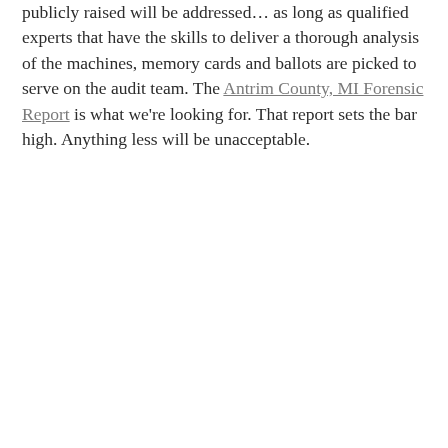publicly raised will be addressed… as long as qualified experts that have the skills to deliver a thorough analysis of the machines, memory cards and ballots are picked to serve on the audit team. The Antrim County, MI Forensic Report is what we're looking for. That report sets the bar high. Anything less will be unacceptable.